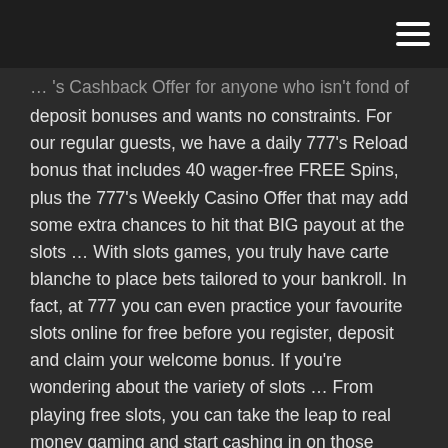[hamburger menu icon]
… 's Cashback Offer for anyone who isn't fond of deposit bonuses and wants no constraints. For our regular guests, we have a daily 777's Reload bonus that includes 40 wager-free FREE Spins, plus the 777's Weekly Casino Offer that may add some extra chances to hit that BIG payout at the slots … With slots games, you truly have carte blanche to place bets tailored to your bankroll. In fact, at 777 you can even practice your favourite slots online for free before you register, deposit and claim your welcome bonus. If you're wondering about the variety of slots … From playing free slots, you can take the leap to real money gaming and start cashing in on those lucky spins. Online Casino Games FAQs. Where can I play free slots? You can play free online slots right here on our site. SlotoZilla has more than 3,000 of the best free slot…